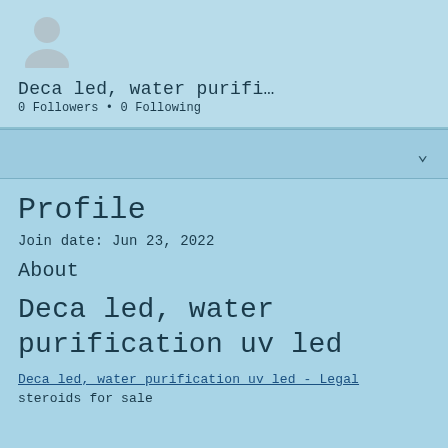[Figure (illustration): Grey silhouette avatar icon of a person on light blue background]
Deca led, water purifi…
0 Followers • 0 Following
Profile
Join date: Jun 23, 2022
About
Deca led, water purification uv led
Deca led, water purification uv led - Legal steroids for sale